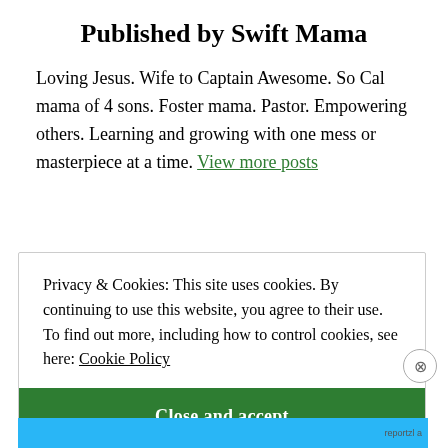Published by Swift Mama
Loving Jesus. Wife to Captain Awesome. So Cal mama of 4 sons. Foster mama. Pastor. Empowering others. Learning and growing with one mess or masterpiece at a time. View more posts
Privacy & Cookies: This site uses cookies. By continuing to use this website, you agree to their use.
To find out more, including how to control cookies, see here: Cookie Policy
Close and accept